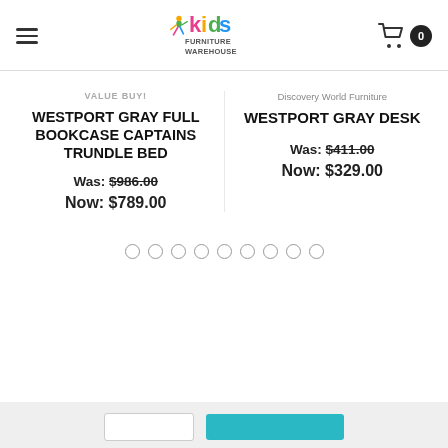Kids Furniture Warehouse
VALUE BUY!
WESTPORT GRAY FULL BOOKCASE CAPTAINS TRUNDLE BED
Was: $986.00
Now: $789.00
Discovery World Furniture
WESTPORT GRAY DESK
Was: $411.00
Now: $329.00